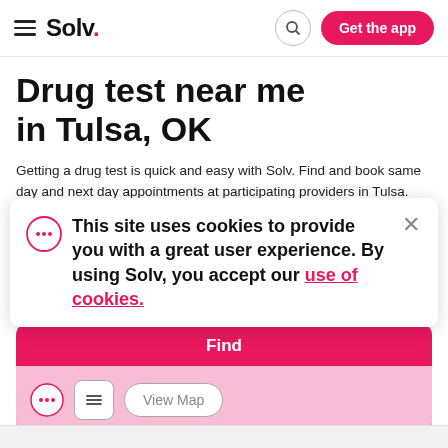Solv. — Get the app
Drug test near me in Tulsa, OK
Getting a drug test is quick and easy with Solv. Find and book same day and next day appointments at participating providers in Tulsa. You could be in and out in under an hour and have your alcohol and drug testing results available the same day.
Drug test (search box)
Find
This site uses cookies to provide you with a great user experience. By using Solv, you accept our use of cookies.